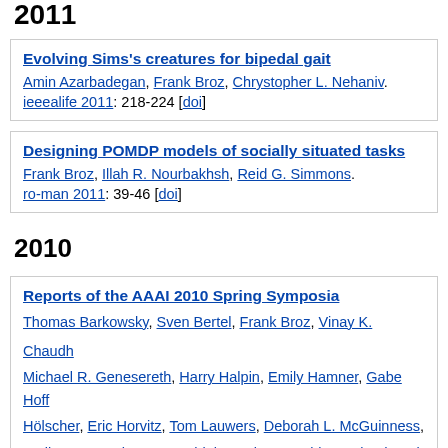2011 (partial, top)
Evolving Sims's creatures for bipedal gait. Amin Azarbadegan, Frank Broz, Chrystopher L. Nehaniv. ieeealife 2011: 218-224 [doi]
Designing POMDP models of socially situated tasks. Frank Broz, Illah R. Nourbakhsh, Reid G. Simmons. ro-man 2011: 39-46 [doi]
2010
Reports of the AAAI 2010 Spring Symposia. Thomas Barkowsky, Sven Bertel, Frank Broz, Vinay K. Chaudhri, Michael R. Genesereth, Harry Halpin, Emily Hamner, Gabe Hoffmann, Hölscher, Eric Horvitz, Tom Lauwers, Deborah L. McGuinness, N…, Emily Mower, Thomas F. Shipley, Kristen Stubbs, Roland Vogl, M… aim, 31(3):115-122, 2010. [doi]